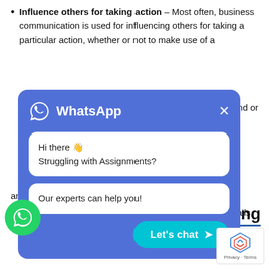Influence others for taking action – Most often, business communication is used for influencing others for taking a particular action, whether or not to make use of a compound or
ss Writing
ness writing, you letter, memo, or
[Figure (screenshot): WhatsApp chat widget overlay with blue background, showing 'Hi there 👋 Struggling with Assignments?' bubble, 'Our experts can help you!' bubble, and a 'Let's chat ➤' button in teal]
words such as eu of 'anticipate' and 'part' instead of 'component.'
unwanted jargon – You shouldn't attempt to make emails, letters, and memos highly technical.